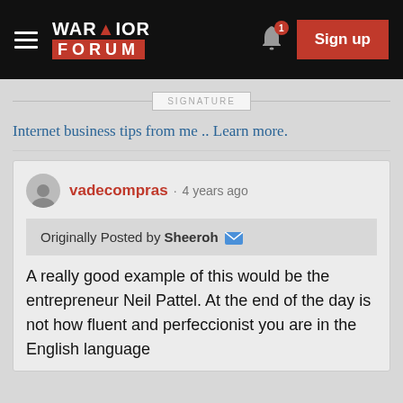[Figure (screenshot): Warrior Forum navigation bar with hamburger menu, logo, bell notification icon with badge '1', and red Sign up button]
Internet business tips from me .. Learn more.
vadecompras · 4 years ago
Originally Posted by Sheeroh
A really good example of this would be the entrepreneur Neil Pattel. At the end of the day is not how fluent and perfeccionist you are in the English language